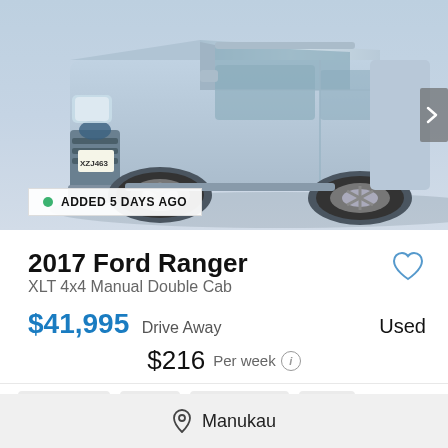[Figure (photo): Silver Ford Ranger XJ463 pickup truck photographed from front-left angle, light blue/silver background]
ADDED 5 DAYS AGO
2017 Ford Ranger
XLT 4x4 Manual Double Cab
$41,995 Drive Away   Used
$216 Per week
106,550 km
Diesel
9.5L / 100km
Utility
Manukau